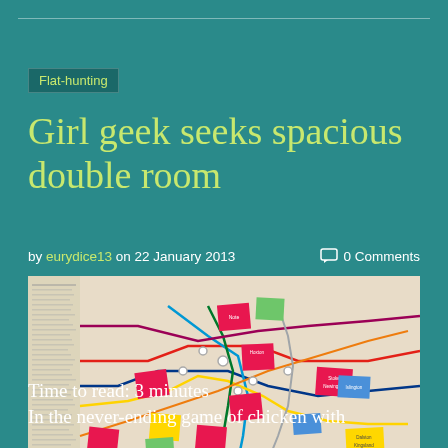Flat-hunting
Girl geek seeks spacious double room
by eurydice13 on 22 January 2013   0 Comments
[Figure (photo): A London Underground tube map with colourful sticky notes (pink, yellow, green, blue) placed at various stations across the map, showing flat-hunting locations.]
Time to read: 3 minutes
In the never-ending game of chicken with